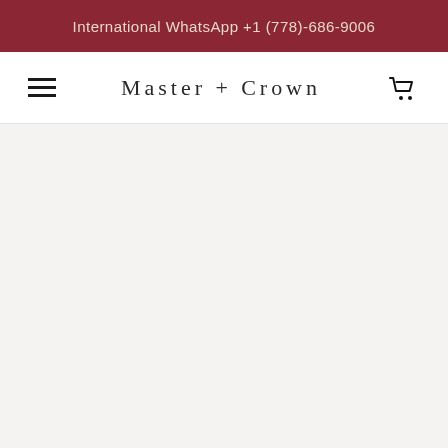International WhatsApp +1 (778)-686-9006
Master + Crown